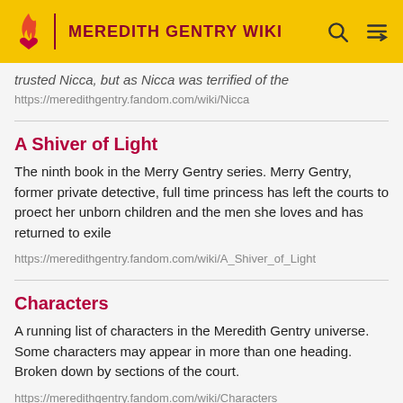MEREDITH GENTRY WIKI
trusted Nicca, but as Nicca was terrified of the
https://meredithgentry.fandom.com/wiki/Nicca
A Shiver of Light
The ninth book in the Merry Gentry series. Merry Gentry, former private detective, full time princess has left the courts to proect her unborn children and the men she loves and has returned to exile
https://meredithgentry.fandom.com/wiki/A_Shiver_of_Light
Characters
A running list of characters in the Meredith Gentry universe. Some characters may appear in more than one heading. Broken down by sections of the court.
https://meredithgentry.fandom.com/wiki/Characters